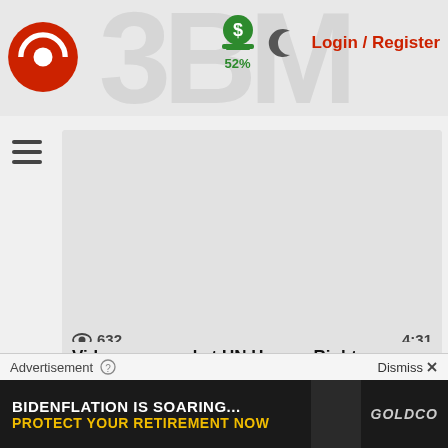Login / Register | 52%
[Figure (screenshot): Video thumbnail placeholder - gray rectangle with view count 632 and duration 4:31]
Video screened at UN Human Rights Council meeting February 28 2019
7 months ago
[Figure (screenshot): Second video card partially visible at bottom]
Advertisement
Dismiss ✕
[Figure (screenshot): Advertisement banner: BIDENFLATION IS SOARING... PROTECT YOUR RETIREMENT NOW - GOLDCO]